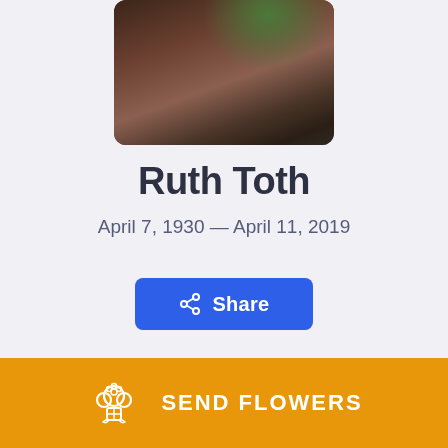[Figure (photo): Portrait photo with dark brown/reddish tones and green foliage at top, partially cropped at the top of the page]
Ruth Toth
April 7, 1930 — April 11, 2019
[Figure (screenshot): Blue Share button with share icon]
[Figure (screenshot): Bottom navigation card partially visible with blue and dark icons]
[Figure (screenshot): Orange Send Flowers bar at the bottom with bouquet icon]